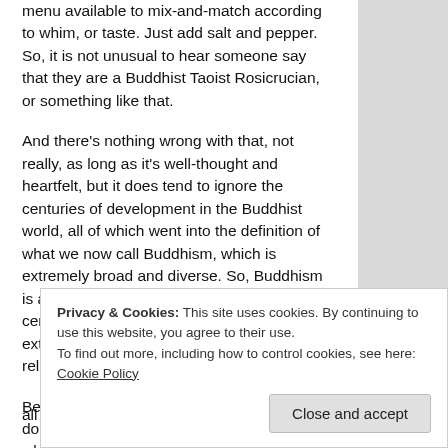menu available to mix-and-match according to whim, or taste. Just add salt and pepper. So, it is not unusual to hear someone say that they are a Buddhist Taoist Rosicrucian, or something like that.
And there's nothing wrong with that, not really, as long as it's well-thought and heartfelt, but it does tend to ignore the centuries of development in the Buddhist world, all of which went into the definition of what we now call Buddhism, which is extremely broad and diverse. So, Buddhism is already bulging at the seams with centuries of dialectic, with or without any extra added input from the latest fad religion to hit the New Age newsstands.
Because that's what Buddhism has always done, and the Buddha allowed that. But what is missing here is the discipline and the dedication required to...
all of its recorded history.
Privacy & Cookies: This site uses cookies. By continuing to use this website, you agree to their use.
To find out more, including how to control cookies, see here: Cookie Policy